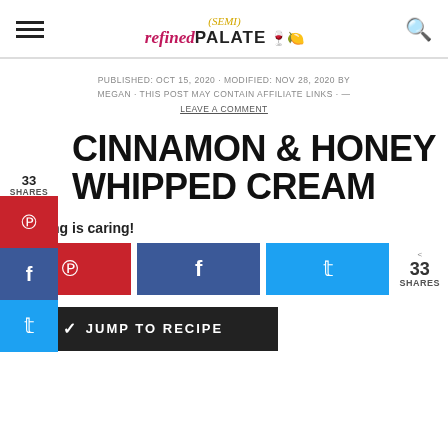(SEMI) refined PALATE
PUBLISHED: OCT 15, 2020 · MODIFIED: NOV 28, 2020 BY MEGAN · THIS POST MAY CONTAIN AFFILIATE LINKS · — LEAVE A COMMENT
33 SHARES
CINNAMON & HONEY WHIPPED CREAM
Sharing is caring!
33 SHARES
JUMP TO RECIPE